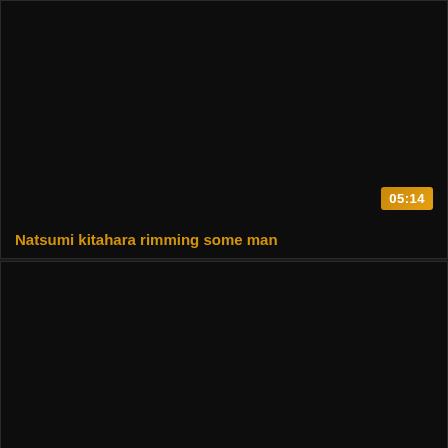[Figure (screenshot): Video thumbnail card with dark/black background, duration badge showing 05:14 in bottom-right corner, and video title text at bottom-left]
Natsumi kitahara rimming some man
[Figure (screenshot): Second video thumbnail card with dark/black background, no visible content]